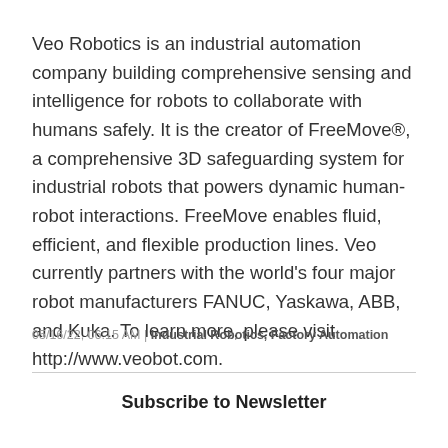Veo Robotics is an industrial automation company building comprehensive sensing and intelligence for robots to collaborate with humans safely. It is the creator of FreeMove®, a comprehensive 3D safeguarding system for industrial robots that powers dynamic human-robot interactions. FreeMove enables fluid, efficient, and flexible production lines. Veo currently partners with the world's four major robot manufacturers FANUC, Yaskawa, ABB, and Kuka. To learn more, please visit http://www.veobot.com.
05/16/22, 06:15 AM | Industrial Robotics, Factory Automation
Subscribe to Newsletter